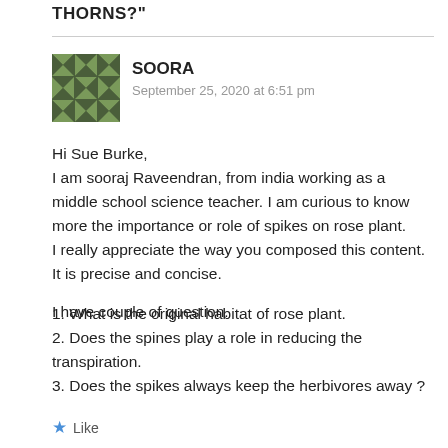THORNS?"
[Figure (illustration): Geometric quilt-pattern avatar in green and dark green for user SOORA]
SOORA
September 25, 2020 at 6:51 pm
Hi Sue Burke,
I am sooraj Raveendran, from india working as a middle school science teacher. I am curious to know more the importance or role of spikes on rose plant.
I really appreciate the way you composed this content. It is precise and concise.
I have couple of question.
1. What is the original habitat of rose plant.
2. Does the spines play a role in reducing the transpiration.
3. Does the spikes always keep the herbivores away ?
Like